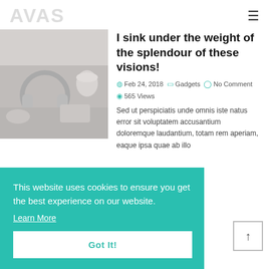AVAS
I sink under the weight of the splendour of these visions!
Feb 24, 2018  Gadgets  No Comment  565 Views
Sed ut perspiciatis unde omnis iste natus error sit voluptatem accusantium doloremque laudantium, totam rem aperiam, eaque ipsa quae ab illo
[Figure (photo): Photo of headphones and tech accessories on a desk]
This website uses cookies to ensure you get the best experience on our website. Learn More
Got It!